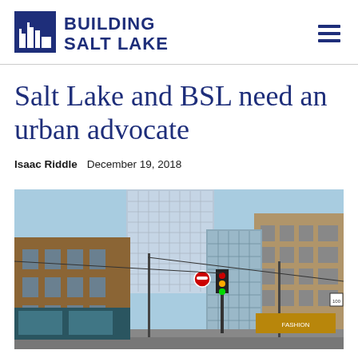BUILDING SALT LAKE
Salt Lake and BSL need an urban advocate
Isaac Riddle  December 19, 2018
[Figure (photo): Street-level photo of an urban downtown area showing multi-story commercial buildings, a traffic light, and city street infrastructure under a blue sky]